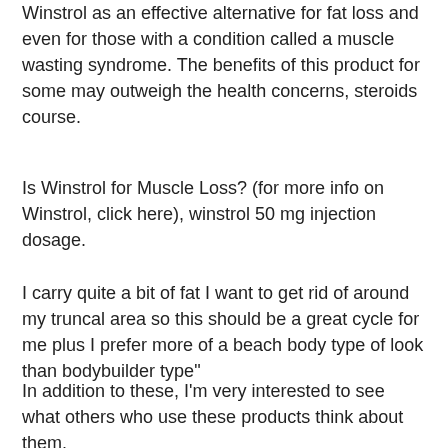Winstrol as an effective alternative for fat loss and even for those with a condition called a muscle wasting syndrome. The benefits of this product for some may outweigh the health concerns, steroids course.
Is Winstrol for Muscle Loss? (for more info on Winstrol, click here), winstrol 50 mg injection dosage.
I carry quite a bit of fat I want to get rid of around my truncal area so this should be a great cycle for me plus I prefer more of a beach body type of look than bodybuilder type"
In addition to these, I'm very interested to see what others who use these products think about them.